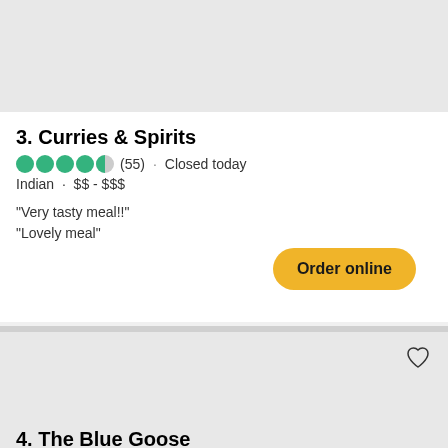3. Curries & Spirits
(55) · Closed today
Indian · $$ - $$$
"Very tasty meal!!"
"Lovely meal"
Order online
4. The Blue Goose